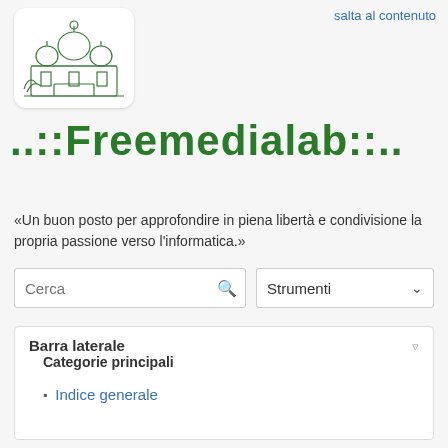salta al contenuto
[Figure (illustration): Logo image of Freemedialab showing a green sketch of a building with domes]
..::Freemedialab::..
«Un buon posto per approfondire in piena libertà e condivisione la propria passione verso l'informatica.»
Cerca
Strumenti
Barra laterale
Categorie principali
Indice generale